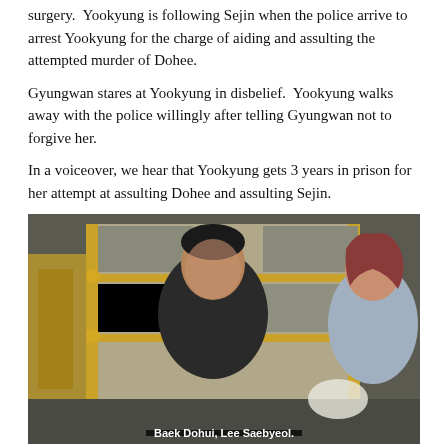surgery.  Yookyung is following Sejin when the police arrive to arrest Yookyung for the charge of aiding and assulting the attempted murder of Dohee.
Gyungwan stares at Yookyung in disbelief.  Yookyung walks away with the police willingly after telling Gyungwan not to forgive her.
In a voiceover, we hear that Yookyung gets 3 years in prison for her attempt at assulting Dohee and assulting Sejin.
[Figure (photo): Screenshot from a Korean drama showing a man in a dark jacket and a woman with reddish-brown hair standing in a room with ornate gold-framed display cases. Subtitle reads: Baek Dohui, Lee Saebyeol.]
Time jump to 5 months later.  Sejin is healed.